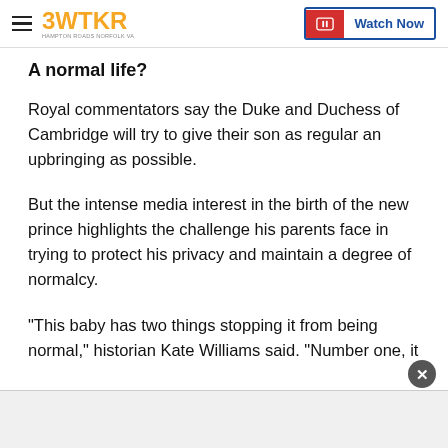3WTKR — Watch Now
A normal life?
Royal commentators say the Duke and Duchess of Cambridge will try to give their son as regular an upbringing as possible.
But the intense media interest in the birth of the new prince highlights the challenge his parents face in trying to protect his privacy and maintain a degree of normalcy.
“This baby has two things stopping it from being normal,” historian Kate Williams said. “Number one, it